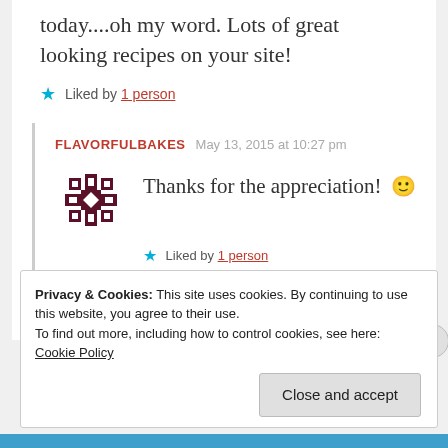today....oh my word. Lots of great looking recipes on your site!
★ Liked by 1 person
FLAVORFULBAKES  May 13, 2015 at 10:27 pm
Thanks for the appreciation! 🙂
★ Liked by 1 person
Privacy & Cookies: This site uses cookies. By continuing to use this website, you agree to their use.
To find out more, including how to control cookies, see here: Cookie Policy
Close and accept